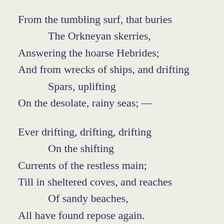From the tumbling surf, that buries
    The Orkneyan skerries,
Answering the hoarse Hebrides;
And from wrecks of ships, and drifting
    Spars, uplifting
On the desolate, rainy seas; —

Ever drifting, drifting, drifting
    On the shifting
Currents of the restless main;
Till in sheltered coves, and reaches
    Of sandy beaches,
All have found repose again.